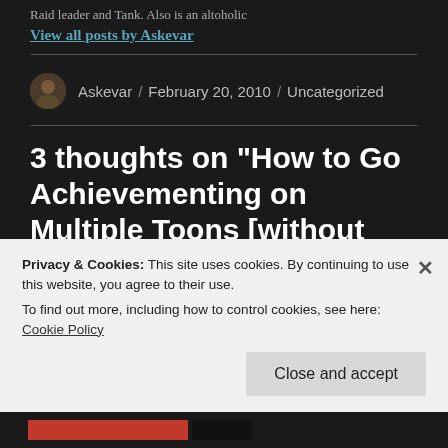Raid leader and Tank. Also is an altoholic
View all posts by Askevar
Askevar / February 20, 2010 / Uncategorized
3 thoughts on “How to Go Achievementing on Multiple Toons [without losing your
Privacy & Cookies: This site uses cookies. By continuing to use this website, you agree to their use.
To find out more, including how to control cookies, see here:
Cookie Policy
Close and accept